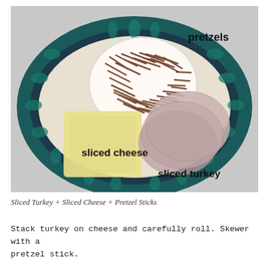[Figure (photo): Top-down photo of a decorative blue and teal plate on a grey background. On the plate: a white bowl filled with pretzel sticks (labeled 'pretzels'), two slices of pale yellow cheese (labeled 'sliced cheese'), and several slices of deli turkey (labeled 'sliced turkey').]
Sliced Turkey + Sliced Cheese + Pretzel Sticks
Stack turkey on cheese and carefully roll. Skewer with a pretzel stick.